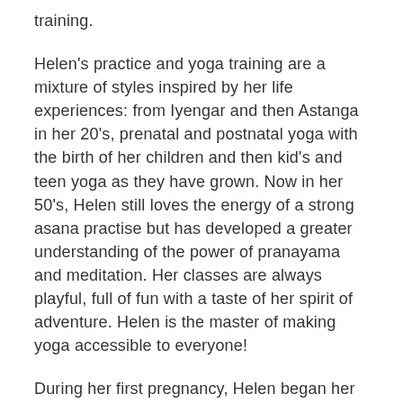training.
Helen's practice and yoga training are a mixture of styles inspired by her life experiences: from Iyengar and then Astanga in her 20's, prenatal and postnatal yoga with the birth of her children and then kid's and teen yoga as they have grown. Now in her 50's, Helen still loves the energy of a strong asana practise but has developed a greater understanding of the power of pranayama and meditation. Her classes are always playful, full of fun with a taste of her spirit of adventure. Helen is the master of making yoga accessible to everyone!
During her first pregnancy, Helen began her journey into the world of yoga for pregnancy, birth and the postnatal period.  In 2005 she trained as a Doula with Michel Odent, the French Obstetrician, and completed her Birthlight pregnancy and post natal yoga diploma with Francoise Freedman. Helen is